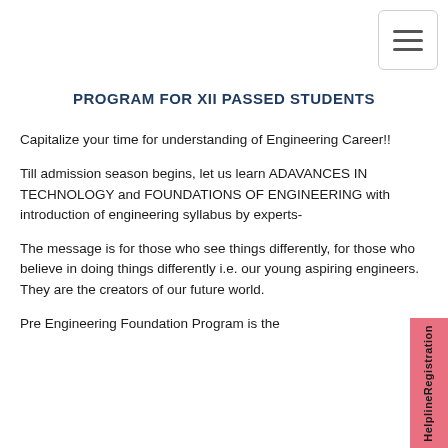[Figure (other): Hamburger menu button in top-right corner]
PROGRAM FOR XII PASSED STUDENTS
Capitalize your time for understanding of Engineering Career!!
Till admission season begins, let us learn ADAVANCES IN TECHNOLOGY and FOUNDATIONS OF ENGINEERING with introduction of engineering syllabus by experts-
The message is for those who see things differently, for those who believe in doing things differently i.e. our young aspiring engineers. They are the creators of our future world.
Pre Engineering Foundation Program is the platform to build for all who wish to build...